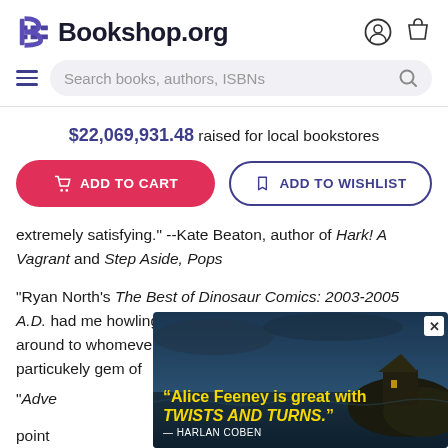Bookshop.org
$22,069,931.48 raised for local bookstores
ADD TO CART | ADD TO WISHLIST
extremely satisfying." --Kate Beaton, author of Hark! A Vagrant and Step Aside, Pops
"Ryan North's The Best of Dinosaur Comics: 2003-2005 A.D. had me howling with laughter and passing the book around to whomever I could lay hands on to point out particu...kely gem of...
"Adve... point
[Figure (screenshot): Advertisement overlay featuring a dark atmospheric image of a cliff house with text: "Alice Feeney is great with TWISTS AND TURNS." — HARLAN COBEN, with an X close button]